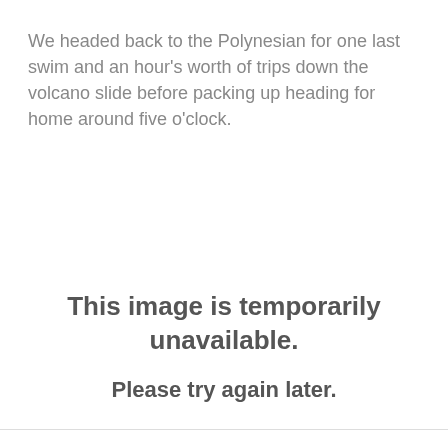We headed back to the Polynesian for one last swim and an hour's worth of trips down the volcano slide before packing up heading for home around five o'clock.
[Figure (other): Image placeholder showing text: 'This image is temporarily unavailable. Please try again later.']